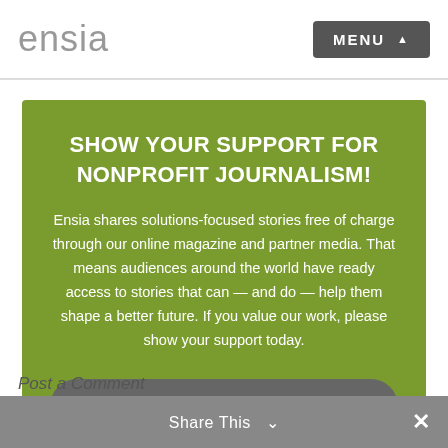ensia   MENU ▲
SHOW YOUR SUPPORT FOR NONPROFIT JOURNALISM!
Ensia shares solutions-focused stories free of charge through our online magazine and partner media. That means audiences around the world have ready access to stories that can — and do — help them shape a better future. If you value our work, please show your support today.
YES, I'LL SUPPORT ENSIA!
Share This ∨  ✕
Post a Comment